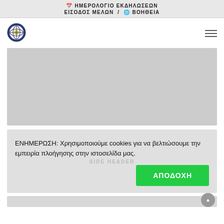📅 ΗΜΕΡΟΛΟΓΙΟ ΕΚΔΗΛΩΣΕΩΝ ΕΙΣΟΔΟΣ ΜΕΛΩΝ / 🌐 ΒΟΗΘΕΙΑ
[Figure (logo): Circular logo with brain/globe icon, yellow and blue colors]
[Figure (photo): Large gray placeholder image (hero banner)]
ΕΝΗΜΕΡΩΣΗ: Χρησιμοποιούμε cookies για να βελτιώσουμε την εμπειρία πλοήγησης στην ιστοσελίδα μας.
ΑΠΟΔΟΧΗ